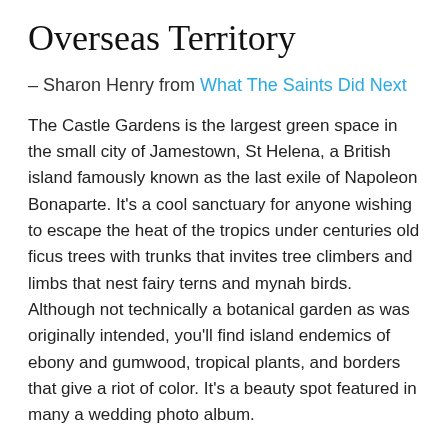Overseas Territory
– Sharon Henry from What The Saints Did Next
The Castle Gardens is the largest green space in the small city of Jamestown, St Helena, a British island famously known as the last exile of Napoleon Bonaparte. It's a cool sanctuary for anyone wishing to escape the heat of the tropics under centuries old ficus trees with trunks that invites tree climbers and limbs that nest fairy terns and mynah birds. Although not technically a botanical garden as was originally intended, you'll find island endemics of ebony and gumwood, tropical plants, and borders that give a riot of color. It's a beauty spot featured in many a wedding photo album.